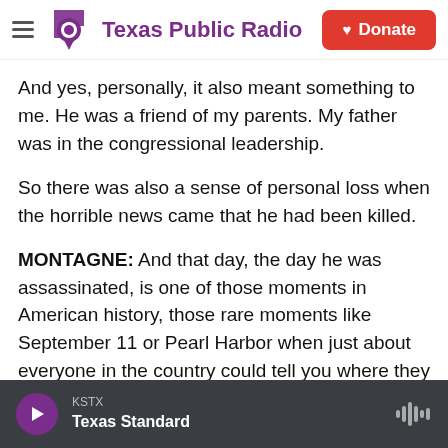Texas Public Radio | Donate
And yes, personally, it also meant something to me. He was a friend of my parents. My father was in the congressional leadership.
So there was also a sense of personal loss when the horrible news came that he had been killed.
MONTAGNE: And that day, the day he was assassinated, is one of those moments in American history, those rare moments like September 11 or Pearl Harbor when just about everyone in the country could tell you where they were.
KSTX — Texas Standard